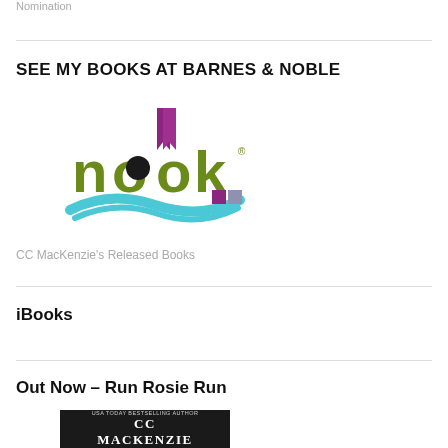Nomination
SEE MY BOOKS AT BARNES & NOBLE
[Figure (logo): Nook logo — green and black lettering with a purple bookmark and teal open book graphic]
CC MacKenzie's Released Books
iBooks
Out Now – Run Rosie Run
[Figure (photo): Book cover showing CC MacKenzie with text 'USA Today Bestselling Author' and 'MACKENZIE']